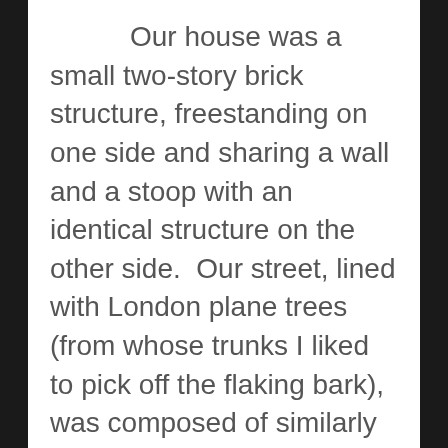Our house was a small two-story brick structure, freestanding on one side and sharing a wall and a stoop with an identical structure on the other side.  Our street, lined with London plane trees (from whose trunks I liked to pick off the flaking bark), was composed of similarly attached houses. One entered our house through a miniscule foyer that led to a small living